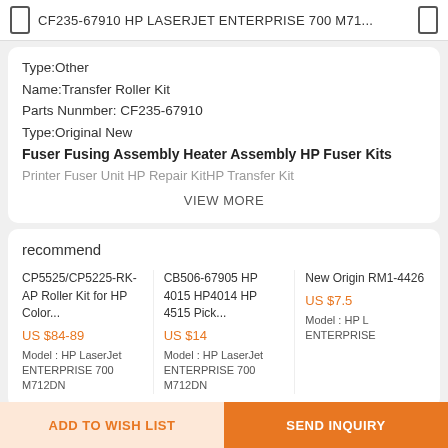CF235-67910 HP LASERJET ENTERPRISE 700 M71...
Type:Other
Name:Transfer Roller Kit
Parts Nunmber: CF235-67910
Type:Original New
Fuser Fusing Assembly Heater Assembly HP Fuser Kits
Printer Fuser Unit HP Repair KitHP Transfer Kit
VIEW MORE
recommend
CP5525/CP5225-RK-AP Roller Kit for HP Color...
US $84-89
Model : HP LaserJet ENTERPRISE 700 M712DN
CB506-67905 HP 4015 HP4014 HP 4515 Pick...
US $14
Model : HP LaserJet ENTERPRISE 700 M712DN
New Origin RM1-4426
US $7.5
Model : HP L ENTERPRISE
KeyWords
ADD TO WISH LIST
SEND INQUIRY